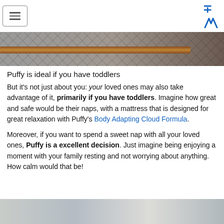≡  M
[Figure (photo): Close-up of a quilted mattress surface with diamond pattern fabric, a wooden bed rail/frame visible, and what appears to be rope or wicker texture on the right edge]
Puffy is ideal if you have toddlers
But it's not just about you: your loved ones may also take advantage of it, primarily if you have toddlers. Imagine how great and safe would be their naps, with a mattress that is designed for great relaxation with Puffy's Body Adapting Cloud Formula.
Moreover, if you want to spend a sweet nap with all your loved ones, Puffy is a excellent decision. Just imagine being enjoying a moment with your family resting and not worrying about anything. How calm would that be!
[Figure (photo): Partial view of a bedroom scene, appears to show a bed or bedroom furniture]